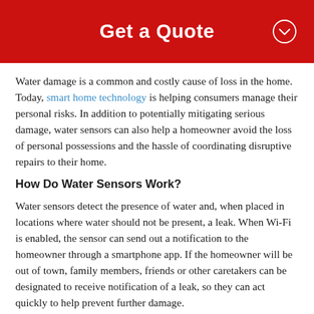Get a Quote
Water damage is a common and costly cause of loss in the home. Today, smart home technology is helping consumers manage their personal risks. In addition to potentially mitigating serious damage, water sensors can also help a homeowner avoid the loss of personal possessions and the hassle of coordinating disruptive repairs to their home.
How Do Water Sensors Work?
Water sensors detect the presence of water and, when placed in locations where water should not be present, a leak. When Wi-Fi is enabled, the sensor can send out a notification to the homeowner through a smartphone app. If the homeowner will be out of town, family members, friends or other caretakers can be designated to receive notification of a leak, so they can act quickly to help prevent further damage.
Some water-sensor systems can be programmed to